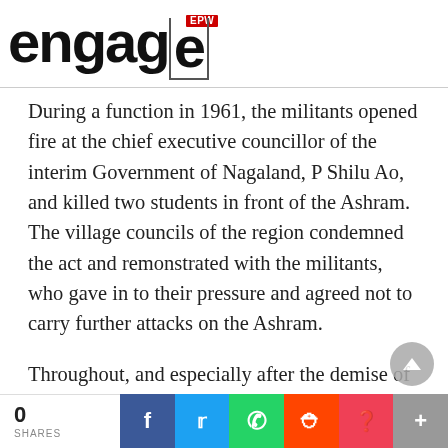EPW engage
During a function in 1961, the militants opened fire at the chief executive councillor of the interim Government of Nagaland, P Shilu Ao, and killed two students in front of the Ashram. The village councils of the region condemned the act and remonstrated with the militants, who gave in to their pressure and agreed not to carry further attacks on the Ashram.
Throughout, and especially after the demise of Jawaharlal Nehru (1964) and
0 SHARES | Facebook | Twitter | WhatsApp | Reddit | Pocket | +